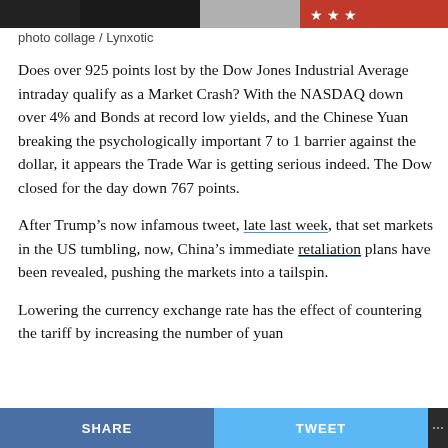[Figure (photo): Top banner photo collage with American flag and red/white/blue imagery]
photo collage / Lynxotic
Does over 925 points lost by the Dow Jones Industrial Average intraday qualify as a Market Crash? With the NASDAQ down over 4% and Bonds at record low yields, and the Chinese Yuan breaking the psychologically important 7 to 1 barrier against the dollar, it appears the Trade War is getting serious indeed. The Dow closed for the day down 767 points.
After Trump’s now infamous tweet, late last week, that set markets in the US tumbling, now, China’s immediate retaliation plans have been revealed, pushing the markets into a tailspin.
Lowering the currency exchange rate has the effect of countering the tariff by increasing the number of yuan
SHARE   TWEET   ...